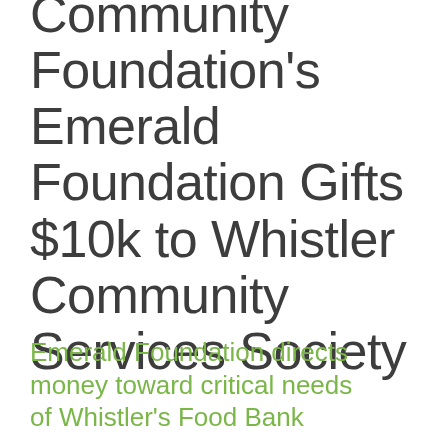Community Foundation's Emerald Foundation Gifts $10k to Whistler Community Services Society
Emerald Foundation directs money toward critical needs of Whistler's Food Bank